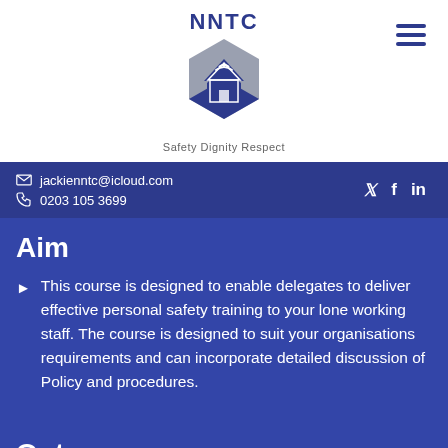[Figure (logo): NNTC logo with hexagon shape containing house and wifi icon, tagline Safety Dignity Respect]
jackienntc@icloud.com  0203 105 3699
Aim
This course is designed to enable delegates to deliver effective personal safety training to your lone working staff. The course is designed to suit your organisations requirements and can incorporate detailed discussion of Policy and procedures.
Outcomes